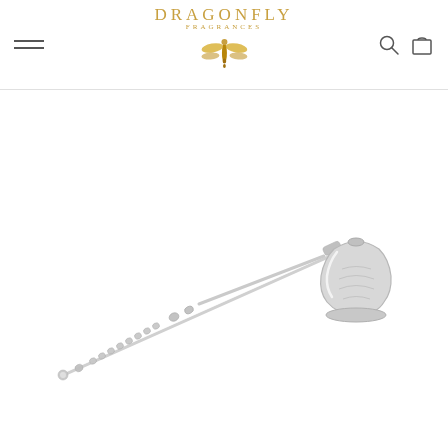DRAGONFLY FRAGRANCES - navigation header with hamburger menu, logo, search and cart icons
[Figure (photo): A silver candle snuffer with a long decorative beaded handle and a bell-shaped cup at the end, photographed on a white background]